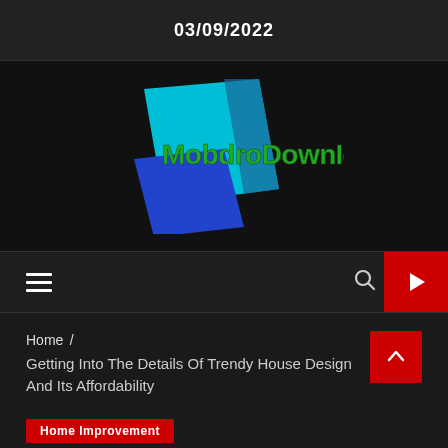03/09/2022
[Figure (logo): MobdroDownloads logo — cyan and blue tilted parallelogram shapes with green text 'MobdroDownloads' on a black background]
Home / Getting Into The Details Of Trendy House Design And Its Affordability
Home Improvement